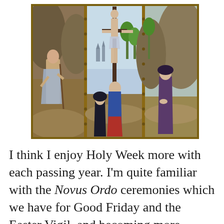[Figure (illustration): A Renaissance triptych painting depicting the Crucifixion of Christ in the central panel, with Saint Jerome on the left panel and the Virgin Mary and other figures in the central and right panels. The panels are separated by ornate golden frames.]
I think I enjoy Holy Week more with each passing year. I'm quite familiar with the Novus Ordo ceremonies which we have for Good Friday and the Easter Vigil, and becoming more accustomed to the usus antiquior ceremonies that we have for the